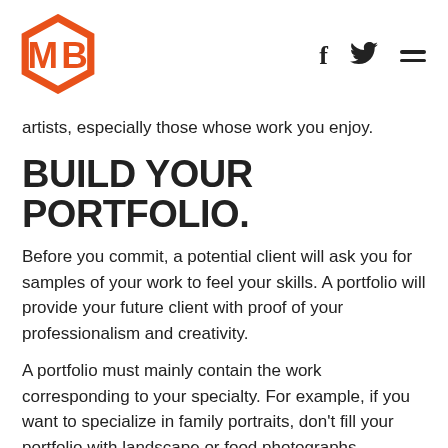[Figure (logo): Orange hexagon logo with letters MB inside]
artists, especially those whose work you enjoy.
BUILD YOUR PORTFOLIO.
Before you commit, a potential client will ask you for samples of your work to feel your skills. A portfolio will provide your future client with proof of your professionalism and creativity.
A portfolio must mainly contain the work corresponding to your specialty. For example, if you want to specialize in family portraits, don't fill your portfolio with landscape or food photographs.